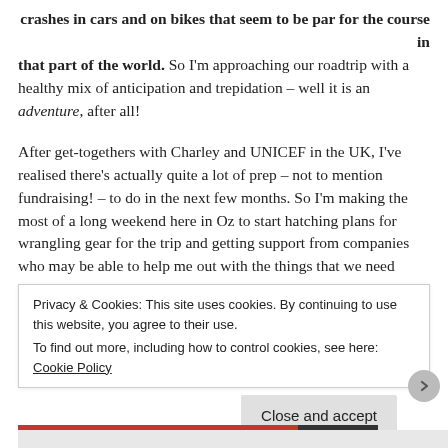crashes in cars and on bikes that seem to be par for the course in that part of the world. So I'm approaching our roadtrip with a healthy mix of anticipation and trepidation – well it is an adventure, after all!

After get-togethers with Charley and UNICEF in the UK, I've realised there's actually quite a lot of prep – not to mention fundraising! – to do in the next few months. So I'm making the most of a long weekend here in Oz to start hatching plans for wrangling gear for the trip and getting support from companies who may be able to help me out with the things that we need.
Privacy & Cookies: This site uses cookies. By continuing to use this website, you agree to their use.
To find out more, including how to control cookies, see here: Cookie Policy
Close and accept